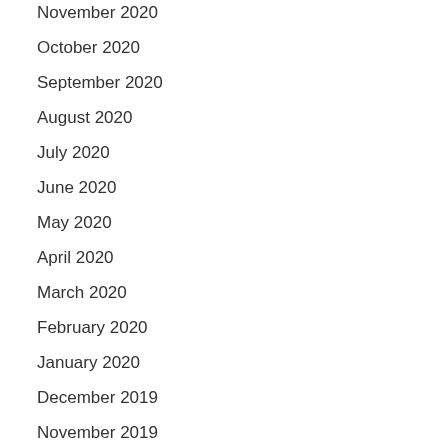November 2020
October 2020
September 2020
August 2020
July 2020
June 2020
May 2020
April 2020
March 2020
February 2020
January 2020
December 2019
November 2019
October 2019